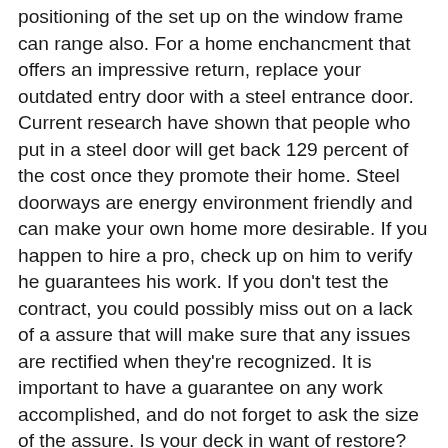positioning of the set up on the window frame can range also. For a home enchancment that offers an impressive return, replace your outdated entry door with a steel entrance door. Current research have shown that people who put in a steel door will get back 129 percent of the cost once they promote their home. Steel doorways are energy environment friendly and can make your own home more desirable. If you happen to hire a pro, check up on him to verify he guarantees his work. If you don't test the contract, you could possibly miss out on a lack of a assure that will make sure that any issues are rectified when they're recognized. It is important to have a guarantee on any work accomplished, and do not forget to ask the size of the assure. Is your deck in want of restore? Search for uneven surfaces or imperfections within the wooden, in addition to defective nails or free screws. There's an enormous array of different residence improvement initiatives on the market, and they can be made to suit virtually any budget. In case your budget does not enable for a large building mission, you may enhance your home's value with smaller, cheap tasks like repainting or residing your property. Hurricane socks are a worthwhile funding if you live in hurricane or flood-prone areas. This product is particularly designed to absorb a great bit of water. Place these all alongside the bottom of doors and windows. Add value to your house by